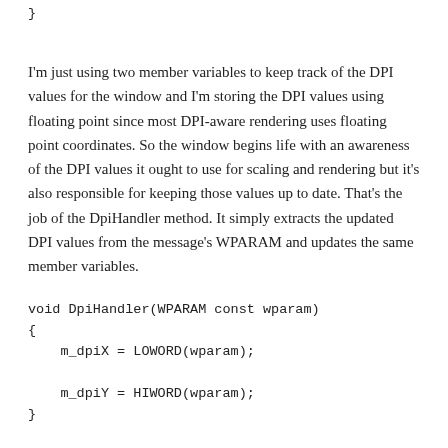}
I'm just using two member variables to keep track of the DPI values for the window and I'm storing the DPI values using floating point since most DPI-aware rendering uses floating point coordinates. So the window begins life with an awareness of the DPI values it ought to use for scaling and rendering but it's also responsible for keeping those values up to date. That's the job of the DpiHandler method. It simply extracts the updated DPI values from the message's WPARAM and updates the same member variables.
void DpiHandler(WPARAM const wparam)
{
    m_dpiX = LOWORD(wparam);
    m_dpiY = HIWORD(wparam);
}